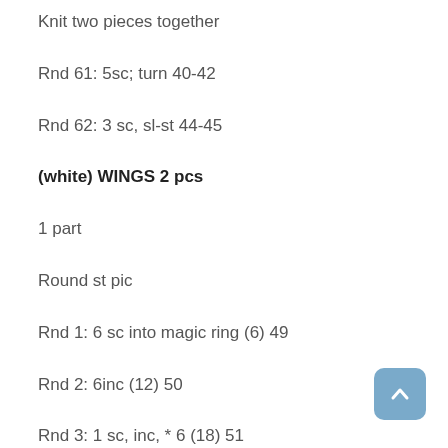Knit two pieces together
Rnd 61: 5sc; turn 40-42
Rnd 62: 3 sc, sl-st 44-45
(white) WINGS 2 pcs
1 part
Round st pic
Rnd 1: 6 sc into magic ring (6) 49
Rnd 2: 6inc (12) 50
Rnd 3: 1 sc, inc, * 6 (18) 51